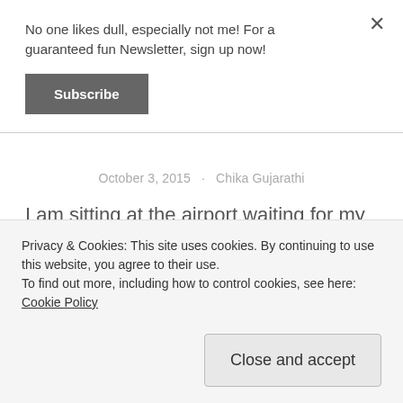No one likes dull, especially not me! For a guaranteed fun Newsletter, sign up now!
Subscribe
October 3, 2015 · Chika Gujarathi
I am sitting at the airport waiting for my flight to New York. I don't have a fear of flying but the rain has been relentless and the drive here was enough to add to to my already anxious mind of being away
Privacy & Cookies: This site uses cookies. By continuing to use this website, you agree to their use.
To find out more, including how to control cookies, see here: Cookie Policy
Close and accept